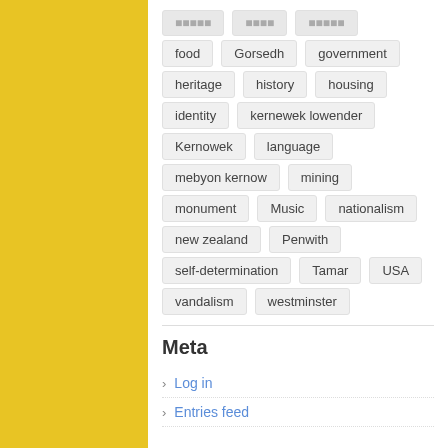food
Gorsedh
government
heritage
history
housing
identity
kernewek lowender
Kernowek
language
mebyon kernow
mining
monument
Music
nationalism
new zealand
Penwith
self-determination
Tamar
USA
vandalism
westminster
Meta
Log in
Entries feed